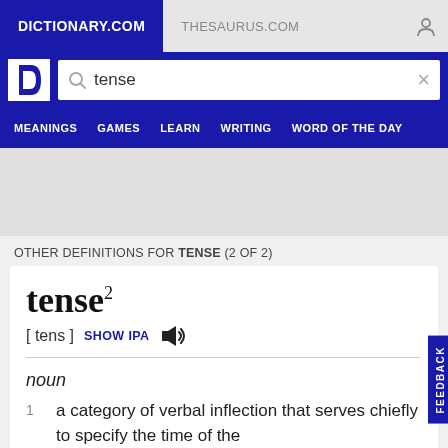DICTIONARY.COM   THESAURUS.COM
tense (search query)
MEANINGS   GAMES   LEARN   WRITING   WORD OF THE DAY
OTHER DEFINITIONS FOR TENSE (2 OF 2)
tense²
[ tens ]  SHOW IPA
noun
1  a category of verbal inflection that serves chiefly to specify the time of the